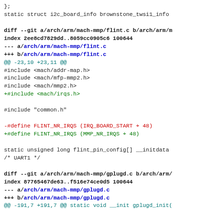};
  static struct i2c_board_info brownstone_twsi1_info

diff --git a/arch/arm/mach-mmp/flint.c b/arch/arm/m
index 2ee8cd7829dd..8059cc0905c6 100644
--- a/arch/arm/mach-mmp/flint.c
+++ b/arch/arm/mach-mmp/flint.c
@@ -23,10 +23,11 @@
 #include <mach/addr-map.h>
 #include <mach/mfp-mmp2.h>
 #include <mach/mmp2.h>
+#include <mach/irqs.h>

 #include "common.h"

-#define FLINT_NR_IRQS   (IRQ_BOARD_START + 48)
+#define FLINT_NR_IRQS   (MMP_NR_IRQS + 48)

  static unsigned long flint_pin_config[] __initdata
          /* UART1 */

diff --git a/arch/arm/mach-mmp/gplugd.c b/arch/arm/
index 87765467de63..f516e74ce0d5 100644
--- a/arch/arm/mach-mmp/gplugd.c
+++ b/arch/arm/mach-mmp/gplugd.c
@@ -191,7 +191,7 @@ static void __init gplugd_init(